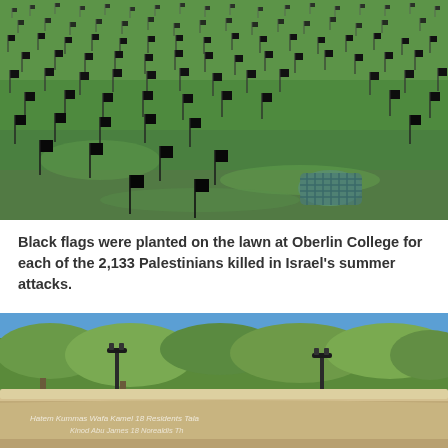[Figure (photo): A green lawn field with hundreds of small black flags planted across it, viewed from a low angle. The flags are attached to thin stakes. A metal grate is visible on the ground in the lower right area of the image.]
Black flags were planted on the lawn at Oberlin College for each of the 2,133 Palestinians killed in Israel’s summer attacks.
[Figure (photo): An outdoor plaza or amphitheater area with a curved concrete retaining wall in the foreground. Trees with green and yellow foliage are visible in the background against a clear blue sky. Street lamps are present. The wall has chalk writing on it, partially legible, including names and text referencing Palestinian casualties.]